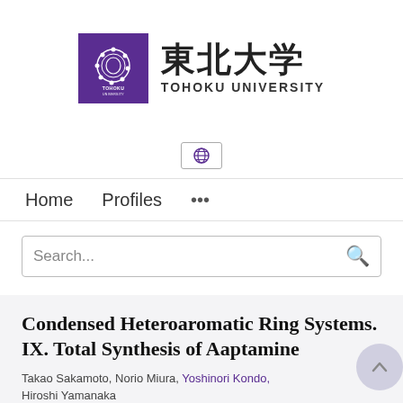[Figure (logo): Tohoku University logo: purple square with circular organism motif and 'TOHOKU UNIVERSITY' text below, alongside Japanese kanji '東北大学' and 'TOHOKU UNIVERSITY' text]
[Figure (logo): Globe/language selector icon button]
Home   Profiles   ...
Search...
Condensed Heteroaromatic Ring Systems. IX. Total Synthesis of Aaptamine
Takao Sakamoto, Norio Miura, Yoshinori Kondo, Hiroshi Yamanaka